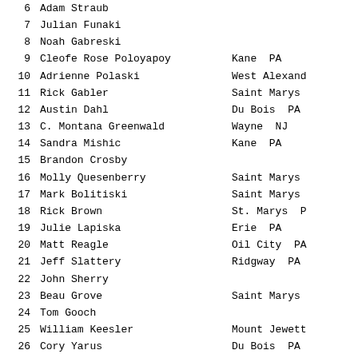| # | Name | Location |
| --- | --- | --- |
| 6 | Adam Straub |  |
| 7 | Julian Funaki |  |
| 8 | Noah Gabreski |  |
| 9 | Cleofe Rose Poloyapoy | Kane  PA |
| 10 | Adrienne Polaski | West Alexand |
| 11 | Rick Gabler | Saint Marys |
| 12 | Austin Dahl | Du Bois  PA |
| 13 | C. Montana Greenwald | Wayne  NJ |
| 14 | Sandra Mishic | Kane  PA |
| 15 | Brandon Crosby |  |
| 16 | Molly Quesenberry | Saint Marys |
| 17 | Mark Bolitiski | Saint Marys |
| 18 | Rick Brown | St. Marys  P |
| 19 | Julie Lapiska | Erie  PA |
| 20 | Matt Reagle | Oil City  PA |
| 21 | Jeff Slattery | Ridgway  PA |
| 22 | John Sherry |  |
| 23 | Beau Grove | Saint Marys |
| 24 | Tom Gooch |  |
| 25 | William Keesler | Mount Jewett |
| 26 | Cory Yarus | Du Bois  PA |
| 27 | Eli Cooley | Oil City  PA |
| 28 | Eric Slagle | Allison Park |
| 29 | Joel Pistner | Saint Marys |
| 30 | Tyler Stevens | Du Bois  PA |
| 31 | Greg Macer | Ridgway  PA |
| 32 | Weej. Fernan |  |
| 33 | Melissa Buhler | Kersey  PA |
| 34 | Tim Andrulonis | Du Bois  PA |
| 35 | Aaron Piccolo | Saint Marys |
| 36 | Jesse Minan |  |